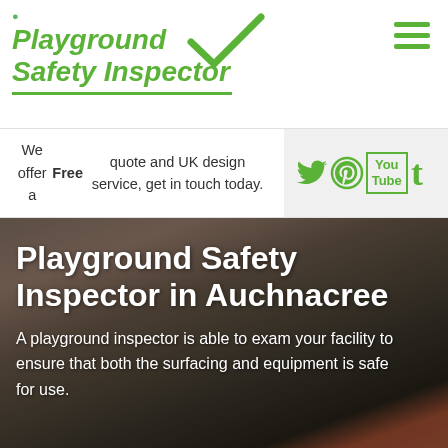[Figure (logo): Playground Safety Inspector logo with green italic bold text, checkmark, and location pin icon]
We offer a Free quote and UK design service, get in touch today.
[Figure (infographic): Social media icons: Twitter bird, Pinterest, YouTube, Tumblr — all in green on grey background]
Playground Safety Inspector in Auchnacree
A playground inspector is able to exam your facility to ensure that both the surfacing and equipment is safe for use.